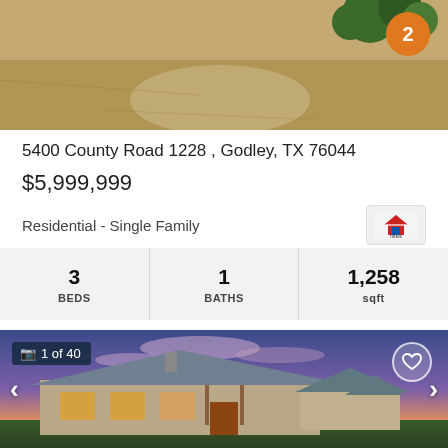[Figure (photo): Aerial view of a rural property with dry grass and trees with an orange badge showing number 2]
5400 County Road 1228 , Godley, TX 76044
$5,999,999
Residential - Single Family
| BEDS | BATHS | sqft |
| --- | --- | --- |
| 3 | 1 | 1,258 |
[Figure (photo): Exterior photo of a stone ranch house with metal roof at sunset/dusk, with navigation arrows and 1 of 40 photo counter overlay]